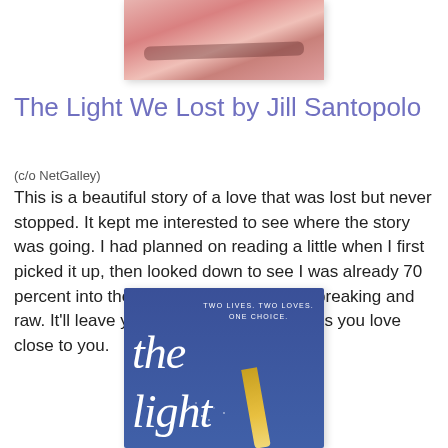[Figure (photo): Cropped photo showing a close-up of a face with pink/rose-toned makeup, eyelashes visible, soft focus.]
The Light We Lost by Jill Santopolo
(c/o NetGalley)
This is a beautiful story of a love that was lost but never stopped. It kept me interested to see where the story was going. I had planned on reading a little when I first picked it up, then looked down to see I was already 70 percent into the book. This story is heartbreaking and raw. It'll leave you wanting to hug the ones you love close to you.
[Figure (photo): Book cover of 'The Light We Lost' by Jill Santopolo — blue background with script text reading 'the light', tagline 'Two Lives. Two Loves. One Choice.' and a gold pencil illustration with sparkles.]